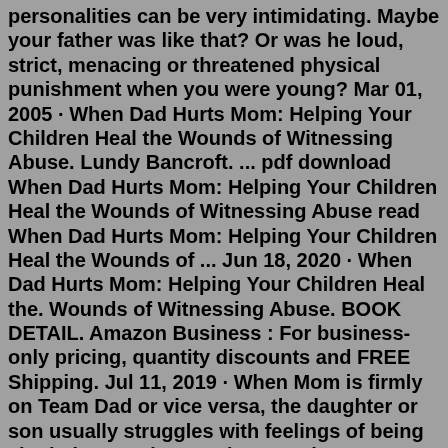personalities can be very intimidating. Maybe your father was like that? Or was he loud, strict, menacing or threatened physical punishment when you were young? Mar 01, 2005 · When Dad Hurts Mom: Helping Your Children Heal the Wounds of Witnessing Abuse. Lundy Bancroft. ... pdf download When Dad Hurts Mom: Helping Your Children Heal the Wounds of Witnessing Abuse read When Dad Hurts Mom: Helping Your Children Heal the Wounds of ... Jun 18, 2020 · When Dad Hurts Mom: Helping Your Children Heal the. Wounds of Witnessing Abuse. BOOK DETAIL. Amazon Business : For business-only pricing, quantity discounts and FREE Shipping. Jul 11, 2019 · When Mom is firmly on Team Dad or vice versa, the daughter or son usually struggles with feelings of being singled out and ganged up on; that's especially true if the parents play favorites or ... When Dad Hurts Mom 도서 : Bancroft, Lundy 저자: Berkley Pub Group 출판사: Helping Your Children Heal the Wounds of Witnessing Abuse 날짜: 2005-3 페이지: 384 무게: 127.00온스 유형: Paperback ISBN: